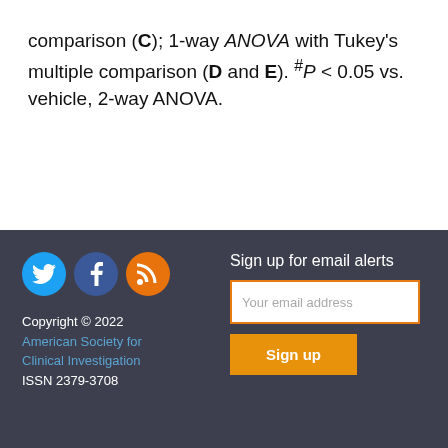comparison (C); 1-way ANOVA with Tukey's multiple comparison (D and E). #P < 0.05 vs. vehicle, 2-way ANOVA.
Copyright © 2022 American Society for Clinical Investigation ISSN 2379-3708